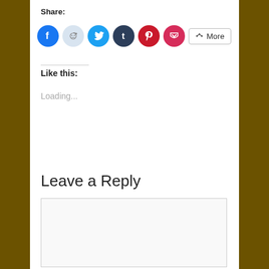Share:
[Figure (other): Social share buttons: Facebook, Reddit, Twitter, Tumblr, Pinterest, Pocket, and More button]
Like this:
Loading...
Leave a Reply